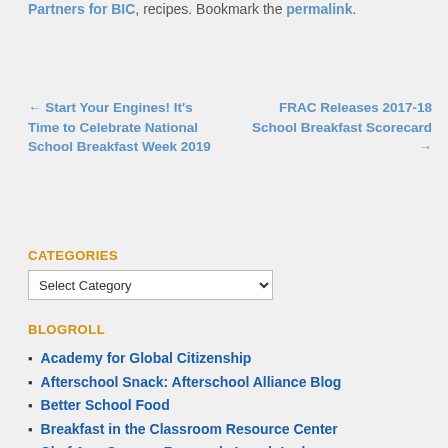Partners for BIC, recipes. Bookmark the permalink.
← Start Your Engines! It's Time to Celebrate National School Breakfast Week 2019
FRAC Releases 2017-18 School Breakfast Scorecard →
CATEGORIES
Select Category
BLOGROLL
Academy for Global Citizenship
Afterschool Snack: Afterschool Alliance Blog
Better School Food
Breakfast in the Classroom Resource Center
Chef Ann Cooper: Renegade Lunch Lady
Food Research & Action Center (FRAC)
Let's Move!
National Association of Elementary School Principals Foundation (NAESP)
NEA Healthy Futures
Nutrition for the Future